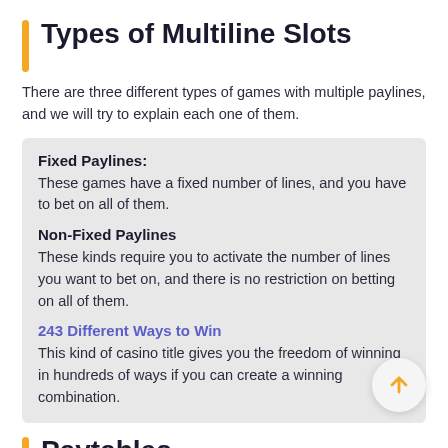Types of Multiline Slots
There are three different types of games with multiple paylines, and we will try to explain each one of them.
Fixed Paylines:
These games have a fixed number of lines, and you have to bet on all of them.
Non-Fixed Paylines
These kinds require you to activate the number of lines you want to bet on, and there is no restriction on betting on all of them.
243 Different Ways to Win
This kind of casino title gives you the freedom of winning in hundreds of ways if you can create a winning combination.
Paytables
Paytables are essential for every player because you need different combinations and the winning amount you can gain by landing these combinations. The paytables also tell you about the winning amount you can get by landing different special symbols and possible scatter symbols. Each slot provides its own table